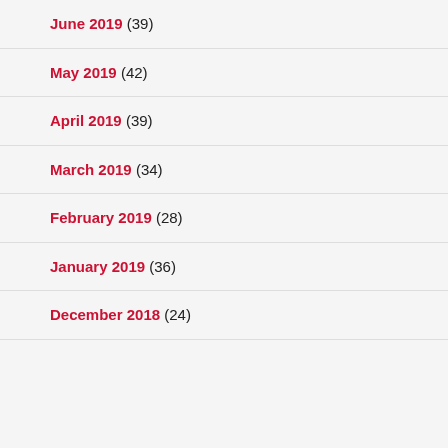June 2019 (39)
May 2019 (42)
April 2019 (39)
March 2019 (34)
February 2019 (28)
January 2019 (36)
December 2018 (24)